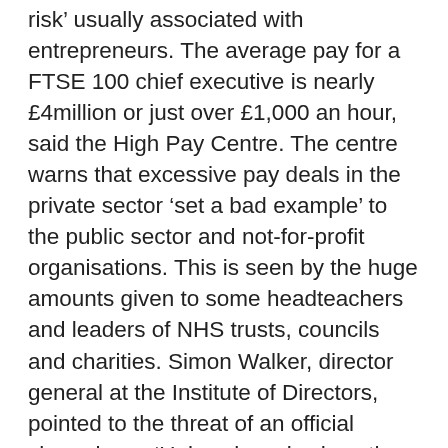risk' usually associated with entrepreneurs. The average pay for a FTSE 100 chief executive is nearly £4million or just over £1,000 an hour, said the High Pay Centre. The centre warns that excessive pay deals in the private sector 'set a bad example' to the public sector and not-for-profit organisations. This is seen by the huge amounts given to some headteachers and leaders of NHS trusts, councils and charities. Simon Walker, director general at the Institute of Directors, pointed to the threat of an official clampdown. 'Unless boards show they are listening and responding, the Government's trigger finger will just get itchier and itchier,' he said. 'The problem is that over the past few decades managers have assumed massive rewards while taking little of the personal risk.' Frances O'Grady, general secretary of the TUC, said: 'Working people deserve a fair share of the wealth they help create. The Prime Minister must stick to her promise to tackle excessive pay at the top.' A report from The Equality Trust today